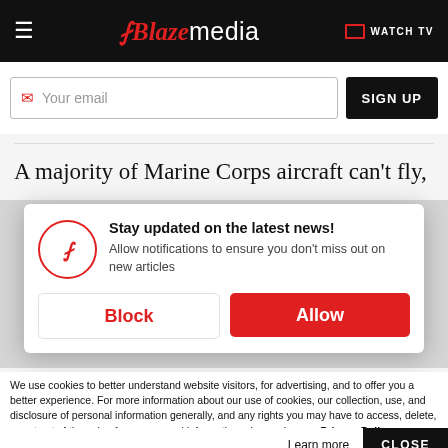Blaze media — WATCH TV
Your email  SIGN UP
A majority of Marine Corps aircraft can't fly,
[Figure (screenshot): Notification popup from Blaze Media: 'Stay updated on the latest news! Allow notifications to ensure you don't miss out on new articles' with Block and Allow buttons]
We use cookies to better understand website visitors, for advertising, and to offer you a better experience. For more information about our use of cookies, our collection, use, and disclosure of personal information generally, and any rights you may have to access, delete, or opt out of the sale of your personal information, please view our Privacy Policy.
Learn more   CLOSE